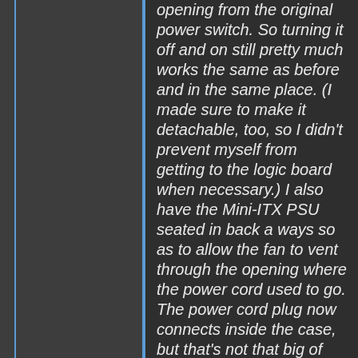opening from the original power switch. So turning it off and on still pretty much works the same as before and in the same place. (I made sure to make it detachable, too, so I didn't prevent myself from getting to the logic board when necessary.) I also have the Mini-ITX PSU seated in back a ways so as to allow the fan to vent through the opening where the power cord used to go. The power cord plug now connects inside the case, but that's not that big of deal to me, especially since the trade-off is a GS sporting good clean power, that can consume up to 200 watts of